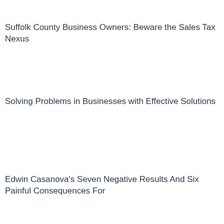Suffolk County Business Owners: Beware the Sales Tax Nexus
Solving Problems in Businesses with Effective Solutions
Edwin Casanova's Seven Negative Results And Six Painful Consequences For